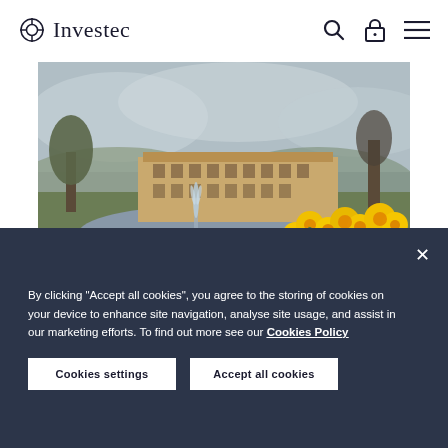Investec
[Figure (photo): Chatsworth House estate in spring with a fountain in a lake foreground and bright yellow daffodils in the right foreground; overcast sky with bare trees]
By clicking "Accept all cookies", you agree to the storing of cookies on your device to enhance site navigation, analyse site usage, and assist in our marketing efforts. To find out more see our Cookies Policy
Cookies settings
Accept all cookies